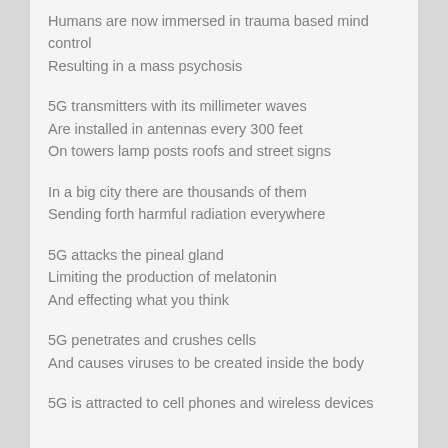Humans are now immersed in trauma based mind control
Resulting in a mass psychosis
5G transmitters with its millimeter waves
Are installed in antennas every 300 feet
On towers lamp posts roofs and street signs
In a big city there are thousands of them
Sending forth harmful radiation everywhere
5G attacks the pineal gland
Limiting the production of melatonin
And effecting what you think
5G penetrates and crushes cells
And causes viruses to be created inside the body
5G is attracted to cell phones and wireless devices